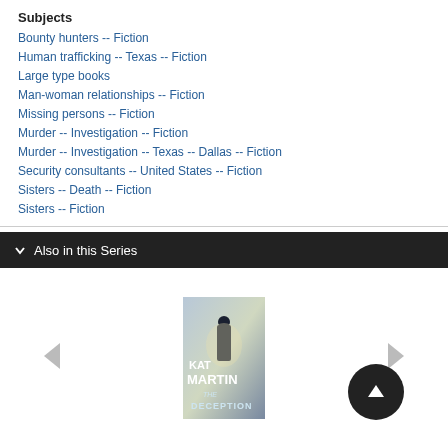Subjects
Bounty hunters -- Fiction
Human trafficking -- Texas -- Fiction
Large type books
Man-woman relationships -- Fiction
Missing persons -- Fiction
Murder -- Investigation -- Fiction
Murder -- Investigation -- Texas -- Dallas -- Fiction
Security consultants -- United States -- Fiction
Sisters -- Death -- Fiction
Sisters -- Fiction
Also in this Series
[Figure (illustration): Book cover for 'The Deception' by Kat Martin, with navigation arrows and scroll-to-top button]